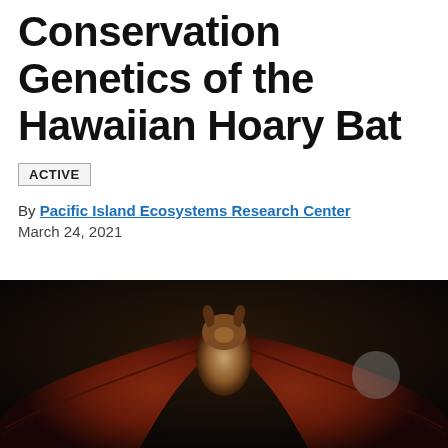Conservation Genetics of the Hawaiian Hoary Bat
ACTIVE
By Pacific Island Ecosystems Research Center
March 24, 2021
[Figure (photo): Close-up photograph of a Hawaiian Hoary Bat viewed from behind/below with wings spread open against a dark background, showing reddish-brown wing membranes]